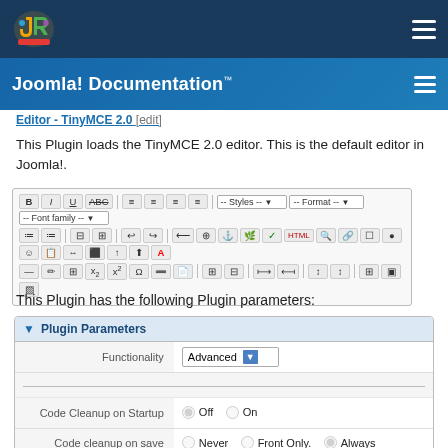Joomla! Documentation™
Editor - TinyMCE 2.0 [edit]
This Plugin loads the TinyMCE 2.0 editor. This is the default editor in Joomla!.
[Figure (screenshot): TinyMCE 2.0 editor toolbar with formatting buttons, styles, format, and font family dropdowns, along with various editing tool icons.]
This Plugin has the following Plugin parameters:
| Parameter | Value |
| --- | --- |
| Functionality | Advanced (dropdown) |
| Code Cleanup on Startup | Off (selected) / On |
| Code cleanup on save | Never / Front Only. / Always (selected) |
| Do not clean HTML entities. | Yes / No (selected) |